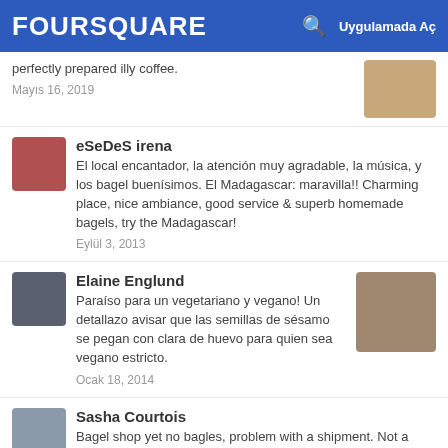FOURSQUARE  Uygulamada Aç
perfectly prepared illy coffee.
Mayıs 16, 2019
eSeDeS irena
El local encantador, la atención muy agradable, la música, y los bagel buenísimos. El Madagascar: maravilla!! Charming place, nice ambiance, good service & superb homemade bagels, try the Madagascar!
Eylül 3, 2013
Elaine Englund
Paraíso para un vegetariano y vegano! Un detallazo avisar que las semillas de sésamo se pegan con clara de huevo para quien sea vegano estricto.
Ocak 18, 2014
Sasha Courtois
Bagel shop yet no bagles, problem with a shipment. Not a good start but ok these things happen. Asked for wifi 1st time, got our food, but it was a wrong order, asked for wifi a second time,
Haziran 29, 2016